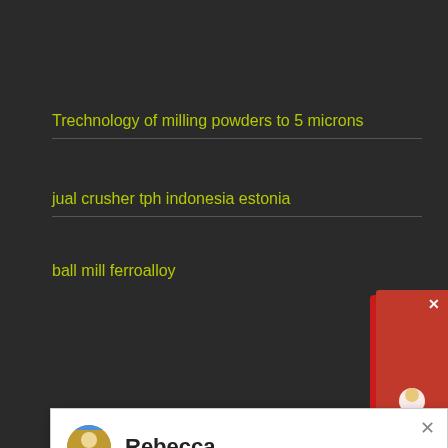Trechnology of milling powders to 5 microns
jual crusher tph indonesia estonia
ball mill ferroalloy
[Figure (screenshot): Chat popup with Rebecca avatar, welcome message from Liming Heavy Industry online service asking user to choose language]
safety risks of iron ore mines
mineral processing vertikal crusher v
Tempor Pellentesque Eget
jaw impact crusher and jaw crusher advantages and